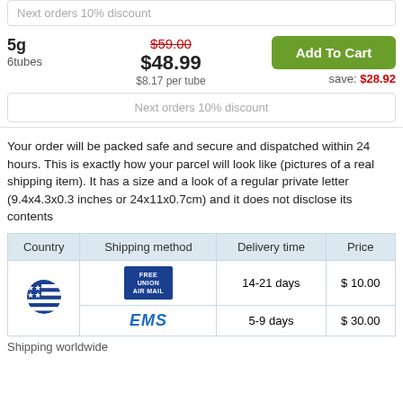Next orders 10% discount
5g
6tubes
$59.00
$48.99
$8.17 per tube
Add To Cart
save: $28.92
Next orders 10% discount
Your order will be packed safe and secure and dispatched within 24 hours. This is exactly how your parcel will look like (pictures of a real shipping item). It has a size and a look of a regular private letter (9.4x4.3x0.3 inches or 24x11x0.7cm) and it does not disclose its contents
| Country | Shipping method | Delivery time | Price |
| --- | --- | --- | --- |
| [US flag] | [USPS logo] | 14-21 days | $ 10.00 |
|  | EMS | 5-9 days | $ 30.00 |
Shipping worldwide